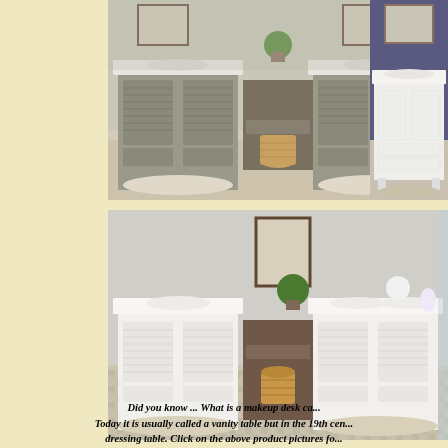[Figure (photo): Gray double bathroom vanity with louvered doors, white marble countertop, two sinks, center makeup desk opening, and wicker basket on patterned tile floor]
[Figure (photo): White single bathroom vanity with drawers and cabinet doors against a blue/purple wall]
[Figure (photo): White double bathroom vanity with louvered doors, white marble countertop, two sinks, center makeup desk opening with brown wooden drawer, wicker basket, and plants on patterned tile floor]
Did you know ... What is a makeup desk ca... Today it is usually called a vanity table but in the 19th cen... dressing table. Click on the above product pictures for...